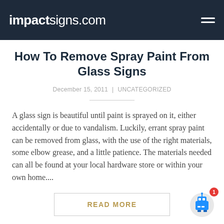impactsigns.com
How To Remove Spray Paint From Glass Signs
December 15, 2011  |  UNCATEGORIZED
A glass sign is beautiful until paint is sprayed on it, either accidentally or due to vandalism. Luckily, errant spray paint can be removed from glass, with the use of the right materials, some elbow grease, and a little patience. The materials needed can all be found at your local hardware store or within your own home....
READ MORE